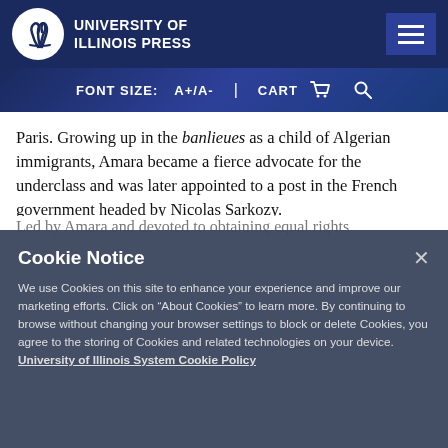University of Illinois Press
FONT SIZE: A+/A- | CART 🛒 🔍
Paris. Growing up in the banlieues as a child of Algerian immigrants, Amara became a fierce advocate for the underclass and was later appointed to a post in the French government headed by Nicolas Sarkozy. Led by Amara and devoted to obtaining equal rights
Cookie Notice
We use Cookies on this site to enhance your experience and improve our marketing efforts. Click on "About Cookies" to learn more. By continuing to browse without changing your browser settings to block or delete Cookies, you agree to the storing of Cookies and related technologies on your device. University of Illinois System Cookie Policy